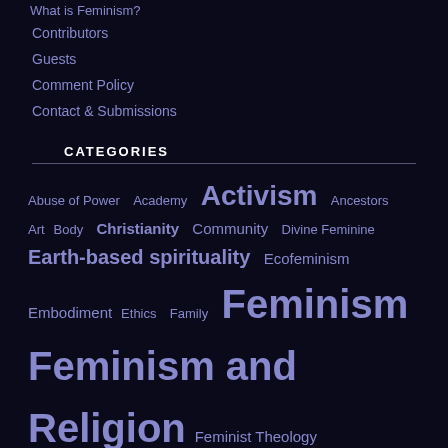What is Feminism?
Contributors
Guests
Comment Policy
Contact & Submissions
CATEGORIES
Abuse of Power  Academy  Activism  Ancestors  Art  Body  Christianity  Community  Divine Feminine  Earth-based spirituality  Ecofeminism  Embodiment  Ethics  Family  Feminism  Feminism and Religion  Feminist Theology  Foremothers  Gender and Power  General  Goddess  Goddess Spirituality  Healing  Nature  Patriarchy  Politics  Social Justice  Spirituality  Women's Spirituality  Women's Voices